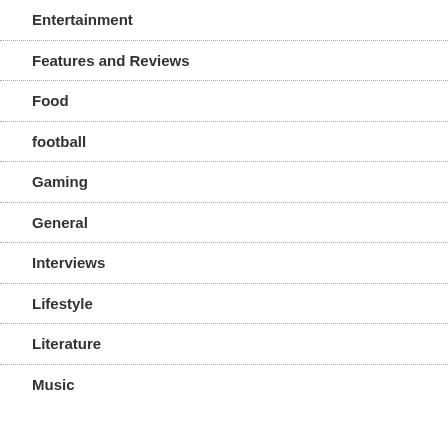Entertainment
Features and Reviews
Food
football
Gaming
General
Interviews
Lifestyle
Literature
Music